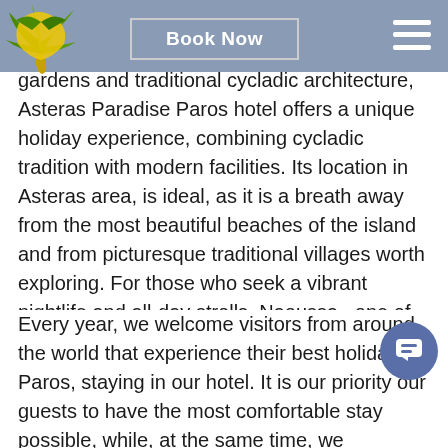[Figure (logo): Yellow and green palm tree logo for Asteras Paradise hotel]
holiday paradise! In the heart of cycladic nature in Paros , surrounded by blooming gardens and traditional cycladic architecture, Asteras Paradise Paros hotel offers a unique holiday experience, combining cycladic tradition with modern facilities. Its location in Asteras area, is ideal, as it is a breath away from the most beautiful beaches of the island and from picturesque traditional villages worth exploring. For those who seek a vibrant nightlife and all-day strolls, Naoussa , one of the best places to visit in Paros,is just 5km away.
Every year, we welcome visitors from around the world that experience their best holidays in Paros, staying in our hotel. It is our priority our guests to have the most comfortable stay possible, while, at the same time, we personally aim for their well being. We ensure that our delicious, homemade products , such as vegetables and olive oil are always in their plate and that the best water sports such as kitesurfing and windsurfing, are not missing from their holiday experience. Whether you are looking for the perfect place for